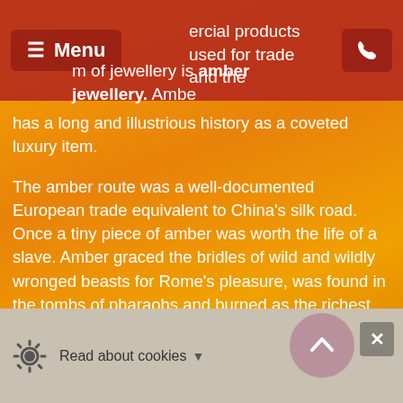Menu | [phone icon]
ercial products used for trade and the m of jewellery is amber jewellery. Amber has a long and illustrious history as a coveted luxury item.
The amber route was a well-documented European trade equivalent to China's silk road. Once a tiny piece of amber was worth the life of a slave. Amber graced the bridles of wild and wildly wronged beasts for Rome's pleasure, was found in the tombs of pharaohs and burned as the richest incense as a gesture of opulence by Chinese emperors. Amber has long been revered as magical, medicinal, and sacred; a healing stone that represents a vessel of eternal life that above all, is extremely beautiful.
Read about cookies ▼